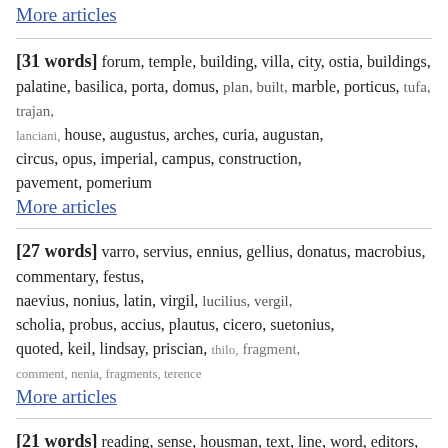More articles
[31 words] forum, temple, building, villa, city, ostia, buildings, palatine, basilica, porta, domus, plan, built, marble, porticus, tufa, trajan, lanciani, house, augustus, arches, curia, augustan, circus, opus, imperial, campus, construction, pavement, pomerium
More articles
[27 words] varro, servius, ennius, gellius, donatus, macrobius, commentary, festus, naevius, nonius, latin, virgil, lucilius, vergil, scholia, probus, accius, plautus, cicero, suetonius, quoted, keil, lindsay, priscian, thilo, fragment, comment, nenia, fragments, terence
More articles
[21 words] reading, sense, housman, text, line, word, editors, conjecture, emendation, bentley, corruption, passage, heinsius, correction, postgate, edition, baehrens, bailey, verse, manuscripts, shackleton, corrupt, palmer, wrote, meaning, conjectures, propertius, madvig, vollmer, latin
More articles